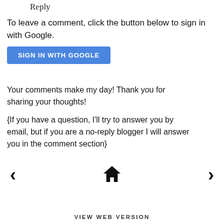Reply
To leave a comment, click the button below to sign in with Google.
[Figure (other): Blue button labeled SIGN IN WITH GOOGLE]
Your comments make my day! Thank you for sharing your thoughts!
{If you have a question, I'll try to answer you by email, but if you are a no-reply blogger I will answer you in the comment section}
[Figure (other): Navigation bar with left arrow, home icon, and right arrow]
VIEW WEB VERSION